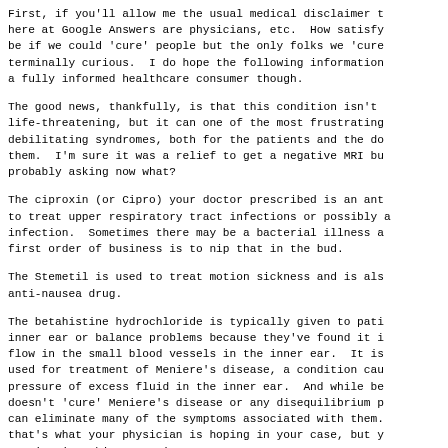First, if you'll allow me the usual medical disclaimer t here at Google Answers are physicians, etc.  How satisfy be if we could 'cure' people but the only folks we 'cure terminally curious.  I do hope the following information a fully informed healthcare consumer though.
The good news, thankfully, is that this condition isn't life-threatening, but it can one of the most frustrating debilitating syndromes, both for the patients and the do them.  I'm sure it was a relief to get a negative MRI bu probably asking now what?
The ciproxin (or Cipro) your doctor prescribed is an ant to treat upper respiratory tract infections or possibly a infection.  Sometimes there may be a bacterial illness a first order of business is to nip that in the bud.
The Stemetil is used to treat motion sickness and is als anti-nausea drug.
The betahistine hydrochloride is typically given to pati inner ear or balance problems because they've found it i flow in the small blood vessels in the inner ear.  It is used for treatment of Meniere's disease, a condition cau pressure of excess fluid in the inner ear.  And while be doesn't 'cure' Meniere's disease or any disequilibrium p can eliminate many of the symptoms associated with them. that's what your physician is hoping in your case, but y to give it a bit more time.